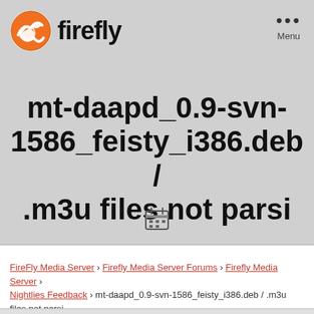[Figure (logo): Firefly logo with orange circular icon and bold black text 'firefly']
mt-daapd_0.9-svn-1586_feisty_i386.deb / .m3u files not parsi
[Figure (other): Calendar icon]
FireFly Media Server › Firefly Media Server Forums › Firefly Media Server › Nightlies Feedback › mt-daapd_0.9-svn-1586_feisty_i386.deb / .m3u files not parsi